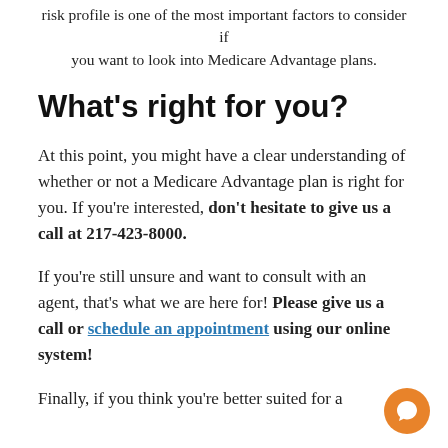risk profile is one of the most important factors to consider if you want to look into Medicare Advantage plans.
What's right for you?
At this point, you might have a clear understanding of whether or not a Medicare Advantage plan is right for you. If you're interested, don't hesitate to give us a call at 217-423-8000.
If you're still unsure and want to consult with an agent, that's what we are here for! Please give us a call or schedule an appointment using our online system!
Finally, if you think you're better suited for a